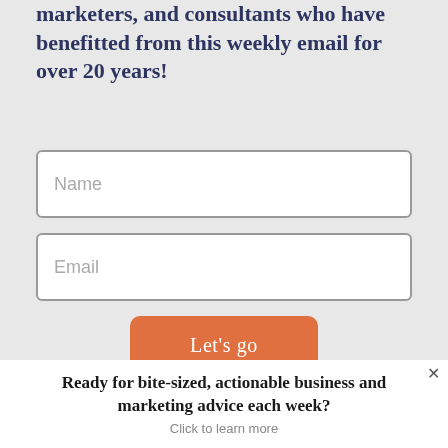marketers, and consultants who have benefitted from this weekly email for over 20 years!
Name
Email
Let's go
Ready for bite-sized, actionable business and marketing advice each week?
Click to learn more